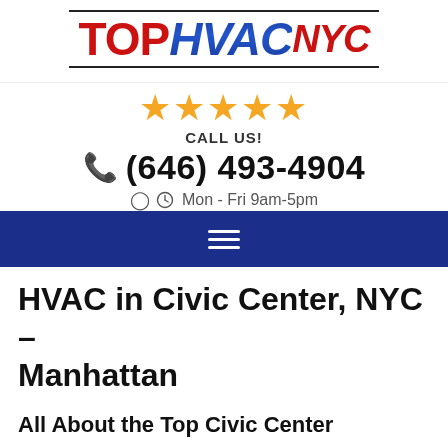[Figure (logo): Top HVAC NYC logo with red TOP, blue italic HVAC, red italic NYC text, bordered top and bottom with black lines]
[Figure (infographic): Five gold star rating icons]
CALL US!
(646) 493-4904
Mon - Fri 9am-5pm
[Figure (infographic): Dark blue navigation bar with hamburger menu icon (three white horizontal lines)]
HVAC in Civic Center, NYC – Manhattan
All About the Top Civic Center